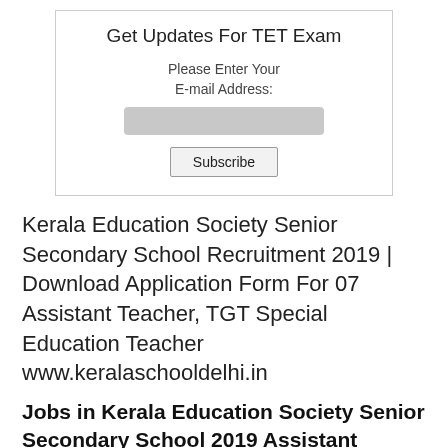Get Updates For TET Exam
Please Enter Your
E-mail Address:
[Figure (screenshot): Email input field (grey rectangle) and Subscribe button]
Kerala Education Society Senior Secondary School Recruitment 2019 | Download Application Form For 07 Assistant Teacher, TGT Special Education Teacher www.keralaschooldelhi.in
Jobs in Kerala Education Society Senior Secondary School 2019 Assistant Teacher, TGT Special Education Teacher